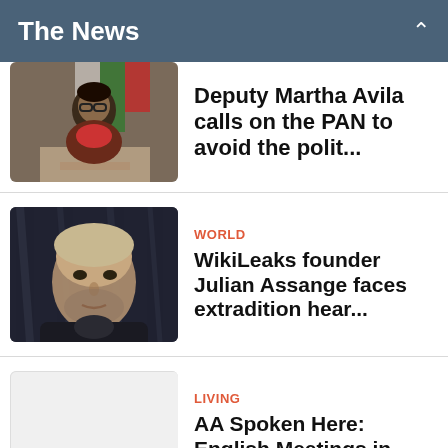The News
[Figure (photo): Woman speaking at a podium with Mexican flag in background]
Deputy Martha Avila calls on the PAN to avoid the polit...
WORLD
[Figure (photo): Close-up photo of Julian Assange]
WikiLeaks founder Julian Assange faces extradition hear...
LIVING
[Figure (photo): Placeholder grey image]
AA Spoken Here: English Meetings in Mexico City